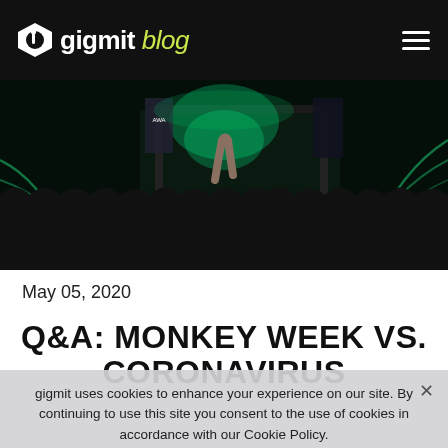gigmit blog
[Figure (photo): Concert photo showing a large crowd at an outdoor festival stage with green lighting effects, audience with raised hands in the foreground.]
May 05, 2020
Q&A: MONKEY WEEK VS. CORONAVIRUS
gigmit uses cookies to enhance your experience on our site. By continuing to use this site you consent to the use of cookies in accordance with our Cookie Policy.
Monkey Week, a showcase festival in southern Spain and